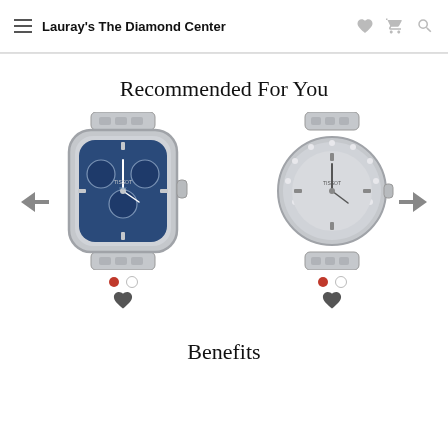Lauray's The Diamond Center
Recommended For You
[Figure (photo): Silver chronograph watch with blue dial and silver bracelet (Tissot PRX)]
[Figure (photo): Silver ladies watch with silver dial and crystal bezel on silver bracelet (Tissot)]
Benefits